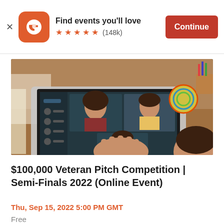Find events you'll love ★★★★★ (148k) Continue
[Figure (photo): A person typing on a laptop showing a video conferencing call with multiple participants on the screen, on a wooden desk with colorful items.]
$100,000 Veteran Pitch Competition | Semi-Finals 2022 (Online Event)
Thu, Sep 15, 2022 5:00 PM GMT
Free